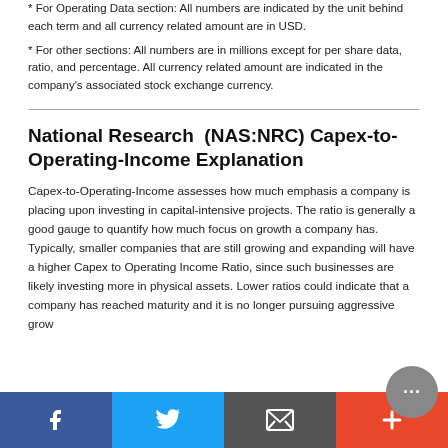* For Operating Data section: All numbers are indicated by the unit behind each term and all currency related amount are in USD.
* For other sections: All numbers are in millions except for per share data, ratio, and percentage. All currency related amount are indicated in the company's associated stock exchange currency.
National Research  (NAS:NRC) Capex-to-Operating-Income Explanation
Capex-to-Operating-Income assesses how much emphasis a company is placing upon investing in capital-intensive projects. The ratio is generally a good gauge to quantify how much focus on growth a company has. Typically, smaller companies that are still growing and expanding will have a higher Capex to Operating Income Ratio, since such businesses are likely investing more in physical assets. Lower ratios could indicate that a company has reached maturity and it is no longer pursuing aggressive grow...